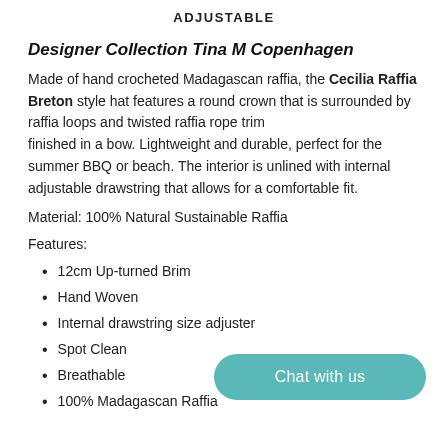ADJUSTABLE
Designer Collection Tina M Copenhagen
Made of hand crocheted Madagascan raffia, the Cecilia Raffia Breton style hat features a round crown that is surrounded by raffia loops and twisted raffia rope trim finished in a bow. Lightweight and durable, perfect for the summer BBQ or beach. The interior is unlined with internal adjustable drawstring that allows for a comfortable fit.
Material: 100% Natural Sustainable Raffia
Features:
12cm Up-turned Brim
Hand Woven
Internal drawstring size adjuster
Spot Clean
Breathable
100% Madagascan Raffia